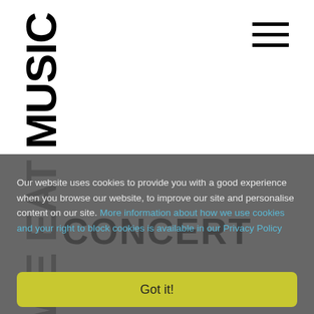[Figure (logo): We Eat Music logo with large bold vertical stacked text]
[Figure (other): Hamburger menu icon with three horizontal lines]
Our website uses cookies to provide you with a good experience when you browse our website, to improve our site and personalise content on our site. More information about how we use cookies and your right to block cookies is available in our Privacy Policy
[Figure (other): CONCERT watermark text overlaid on cookie consent dialog]
Got it!